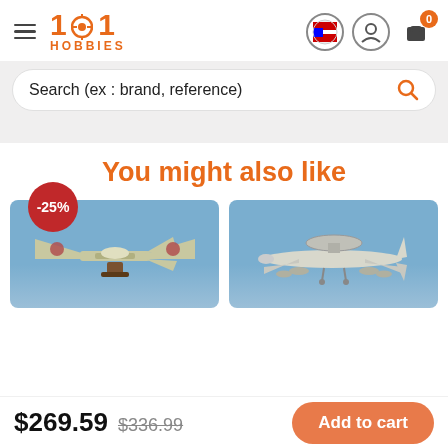1001 HOBBIES
Search (ex : brand, reference)
You might also like
[Figure (photo): Model airplane (twin-engine WWII fighter) with -25% discount badge, on blue background]
[Figure (photo): Model airplane (large military AWACS-style aircraft) on blue background]
$269.59  $336.99  Add to cart